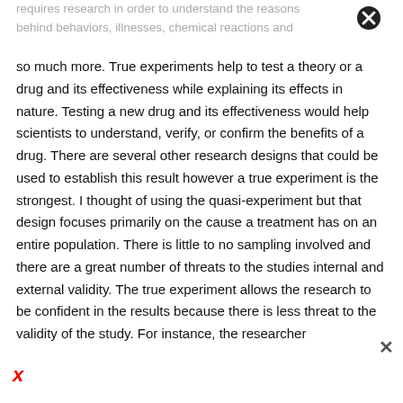requires research in order to understand the reasons behind behaviors, illnesses, chemical reactions and
so much more. True experiments help to test a theory or a drug and its effectiveness while explaining its effects in nature. Testing a new drug and its effectiveness would help scientists to understand, verify, or confirm the benefits of a drug. There are several other research designs that could be used to establish this result however a true experiment is the strongest. I thought of using the quasi-experiment but that design focuses primarily on the cause a treatment has on an entire population. There is little to no sampling involved and there are a great number of threats to the studies internal and external validity. The true experiment allows the research to be confident in the results because there is less threat to the validity of the study. For instance, the researcher